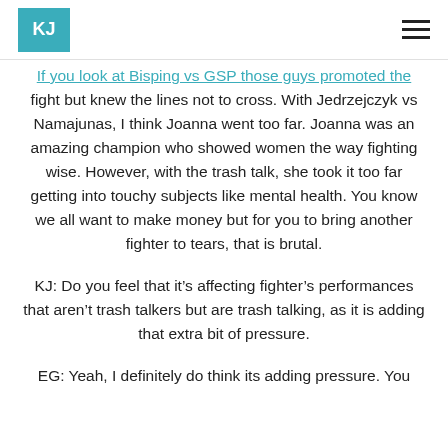KJ [logo]
If you look at Bisping vs GSP those guys promoted the fight but knew the lines not to cross. With Jedrzejczyk vs Namajunas, I think Joanna went too far. Joanna was an amazing champion who showed women the way fighting wise. However, with the trash talk, she took it too far getting into touchy subjects like mental health. You know we all want to make money but for you to bring another fighter to tears, that is brutal.
KJ: Do you feel that it’s affecting fighter’s performances that aren’t trash talkers but are trash talking, as it is adding that extra bit of pressure.
EG: Yeah, I definitely do think its adding pressure. You